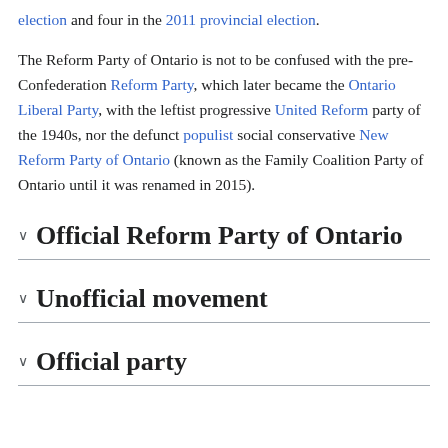election and four in the 2011 provincial election.
The Reform Party of Ontario is not to be confused with the pre-Confederation Reform Party, which later became the Ontario Liberal Party, with the leftist progressive United Reform party of the 1940s, nor the defunct populist social conservative New Reform Party of Ontario (known as the Family Coalition Party of Ontario until it was renamed in 2015).
Official Reform Party of Ontario
Unofficial movement
Official party